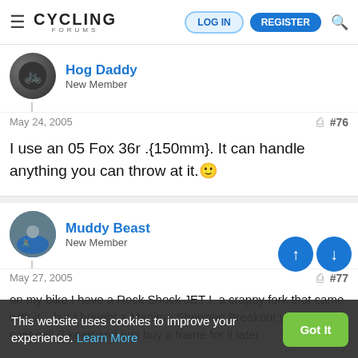CYCLING FORUMS — LOG IN | REGISTER
Hog Daddy
New Member
May 24, 2005   #76
I use an 05 Fox 36r .{150mm}. It can handle anything you can throw at it. 🙂
Muddy Beast
New Member
May 27, 2005   #77
on my bike I have a Rock Shock JET I, a crappy fork that came with it....but I bought a Manitou Sherman Breakout which if i cant sell ill keep and just buy a frame for it later
This website uses cookies to improve your experience. Learn More   Got It